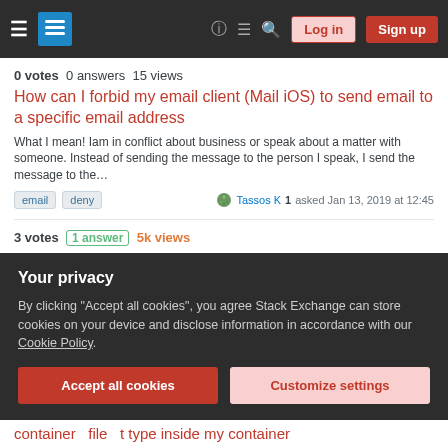≡  [Stack Exchange logo]  ?  ≡  🔍  Log in  Sign up
0 votes  0 answers  15 views
How can I forbid my email client (Mail iOS) to send email to a specific email address
What I mean! Iam in conflict about business or speak about a matter with someone. Instead of sending the message to the person I speak, I send the message to the…
email  deny   Tassos K 1 asked Jan 13, 2019 at 12:45
3 votes  1 answer  5k views
NginX - allow - custom error page
This is rather interesting Guys! I have the following code in one of my webapplications NginX configuration: location /login { if (access_log off) error_page...
Your privacy
By clicking "Accept all cookies", you agree Stack Exchange can store cookies on your device and disclose information in accordance with our Cookie Policy.
Accept all cookies  Customize settings
container  file  t type inside my container